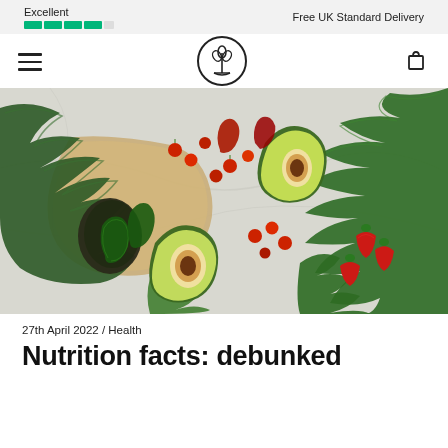Excellent | Free UK Standard Delivery
[Figure (logo): Plant/wheat logo in a circle, navigation hamburger menu and cart icon]
[Figure (photo): Overhead photo of healthy vegetables and fruits on a marble surface including kale, avocado (whole and halved), cherry tomatoes, strawberries, chili peppers, and herbs arranged on brown paper]
27th April 2022 / Health
Nutrition facts: debunked